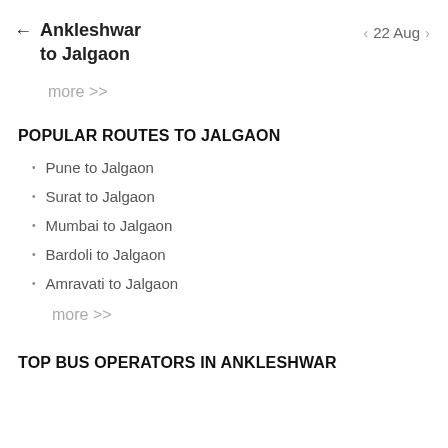Ankleshwar to Jalgaon
22 Aug
more >>
POPULAR ROUTES TO JALGAON
Pune to Jalgaon
Surat to Jalgaon
Mumbai to Jalgaon
Bardoli to Jalgaon
Amravati to Jalgaon
more >>
TOP BUS OPERATORS IN ANKLESHWAR